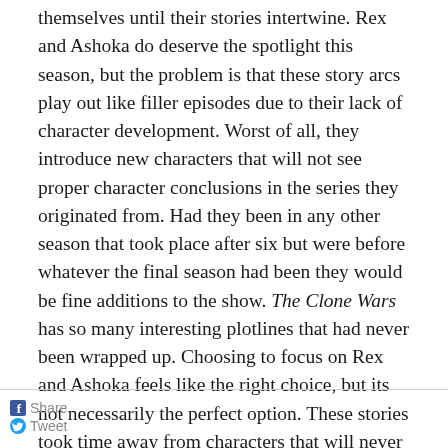themselves until their stories intertwine. Rex and Ashoka do deserve the spotlight this season, but the problem is that these story arcs play out like filler episodes due to their lack of character development. Worst of all, they introduce new characters that will not see proper character conclusions in the series they originated from. Had they been in any other season that took place after six but were before whatever the final season had been they would be fine additions to the show. The Clone Wars has so many interesting plotlines that had never been wrapped up. Choosing to focus on Rex and Ashoka feels like the right choice, but its not necessarily the perfect option. These stories took time away from characters that will never see real conclusion's from their own source material.
Share Tweet